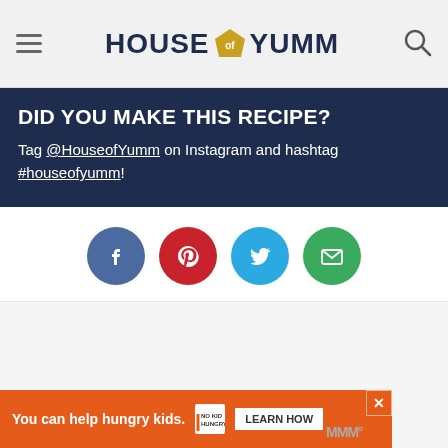HOUSE OF YUMM
DID YOU MAKE THIS RECIPE?
Tag @HouseofYumm on Instagram and hashtag #houseofyumm!
[Figure (infographic): Social share buttons: Facebook (blue), Pinterest (red), Twitter (light blue), Email (green)]
[Figure (infographic): Advertisement banner: You can help hungry kids. No Kid Hungry. LEARN HOW button.]